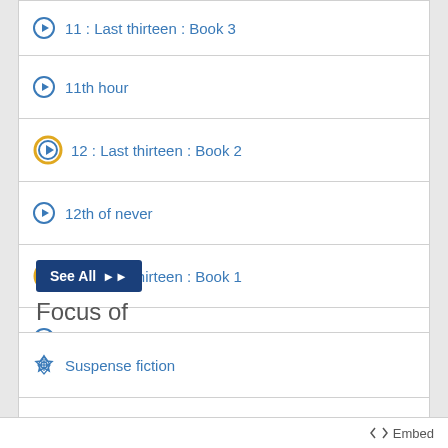11 : Last thirteen : Book 3
11th hour
12 : Last thirteen : Book 2
12th of never
13 : Last thirteen : Book 1
13 minutes
See All
Focus of
Suspense fiction
Suspense fiction
Suspense fiction
Suspense fiction
Embed